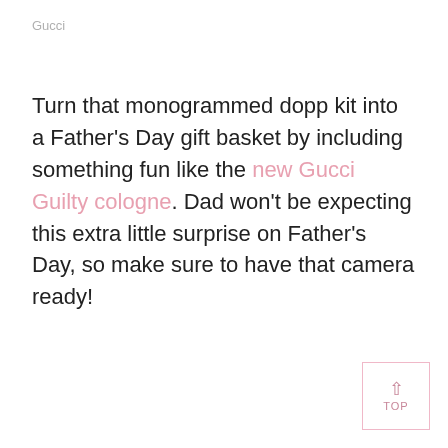Gucci
Turn that monogrammed dopp kit into a Father's Day gift basket by including something fun like the new Gucci Guilty cologne. Dad won't be expecting this extra little surprise on Father's Day, so make sure to have that camera ready!
[Figure (other): Pink outlined button with upward arrow and text TOP]